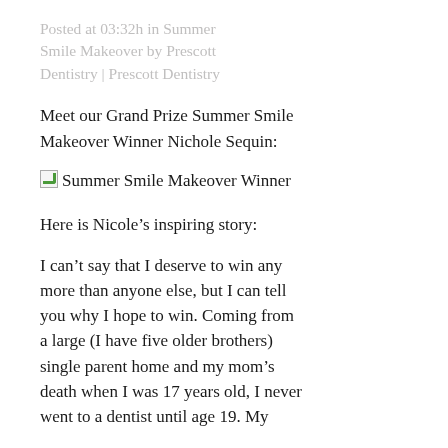Posted at 03:32h in Summer Smile Makeover by Prescott Dentistry | Prescott Dentistry
Meet our Grand Prize Summer Smile Makeover Winner Nichole Sequin:
[Figure (photo): Summer Smile Makeover Winner — broken image placeholder with alt text]
Here is Nicole’s inspiring story:
I can’t say that I deserve to win any more than anyone else, but I can tell you why I hope to win. Coming from a large (I have five older brothers) single parent home and my mom’s death when I was 17 years old, I never went to a dentist until age 19. My